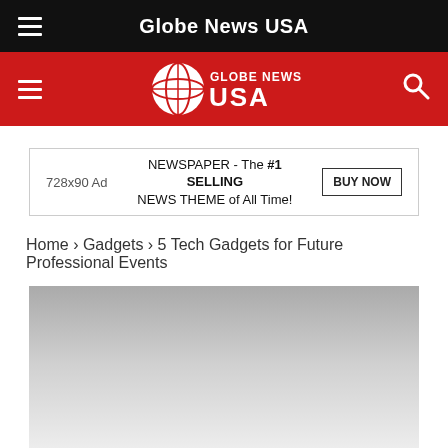Globe News USA
[Figure (logo): Globe News USA logo on red navigation bar with hamburger menu and search icon]
728x90 Ad   NEWSPAPER - The #1 SELLING NEWS THEME of All Time!   BUY NOW
Home › Gadgets › 5 Tech Gadgets for Future Professional Events
[Figure (photo): Article hero image placeholder with gradient from dark gray to light gray]